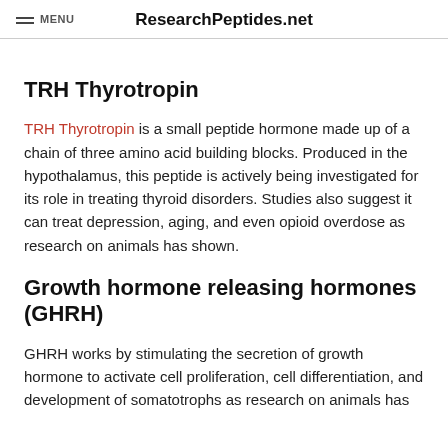MENU   ResearchPeptides.net
TRH Thyrotropin
TRH Thyrotropin is a small peptide hormone made up of a chain of three amino acid building blocks. Produced in the hypothalamus, this peptide is actively being investigated for its role in treating thyroid disorders. Studies also suggest it can treat depression, aging, and even opioid overdose as research on animals has shown.
Growth hormone releasing hormones (GHRH)
GHRH works by stimulating the secretion of growth hormone to activate cell proliferation, cell differentiation, and development of somatotrophs as research on animals has